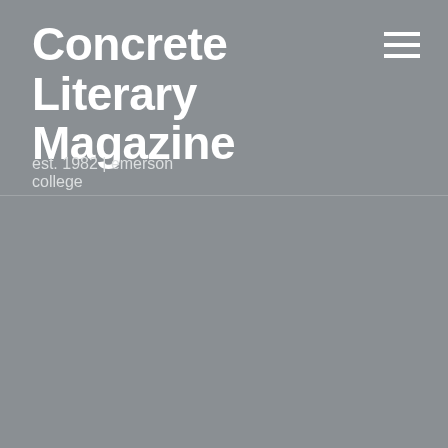Concrete Literary Magazine
est. 1982 | emerson college
POETRY
Strawberry Fool
On November 1, 2015